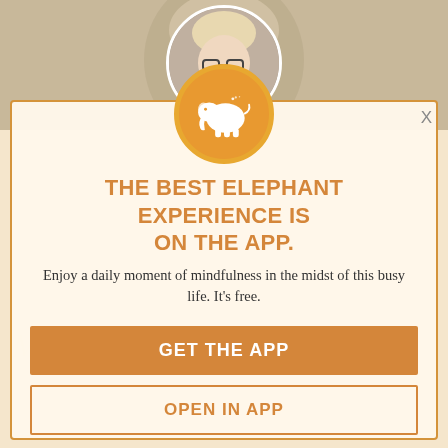[Figure (photo): Circular portrait photo of a woman with glasses and blonde hair at the top of the page]
[Figure (logo): Orange circular logo with a white elephant silhouette]
THE BEST ELEPHANT EXPERIENCE IS ON THE APP.
Enjoy a daily moment of mindfulness in the midst of this busy life. It's free.
GET THE APP
OPEN IN APP